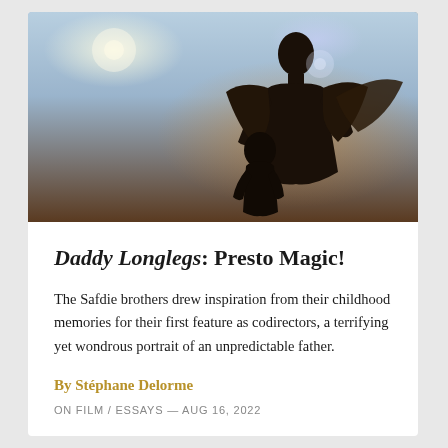[Figure (photo): Silhouette of an adult (taller) and a child against a bright sky with warm backlight and lens flare, suggesting a parent carrying or embracing a child outdoors at golden hour.]
Daddy Longlegs: Presto Magic!
The Safdie brothers drew inspiration from their childhood memories for their first feature as codirectors, a terrifying yet wondrous portrait of an unpredictable father.
By Stéphane Delorme
ON FILM / ESSAYS — AUG 16, 2022